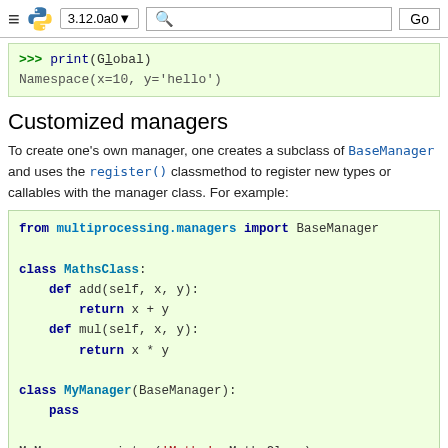≡ 🐍 3.12.0a0 ▼  [search]  Go
[Figure (screenshot): Python interactive session showing: >>> print(Global) / Namespace(x=10, y='hello')]
Customized managers
To create one's own manager, one creates a subclass of BaseManager and uses the register() classmethod to register new types or callables with the manager class. For example:
[Figure (screenshot): Python code block: from multiprocessing.managers import BaseManager; class MathsClass: def add(self, x, y): return x + y; def mul(self, x, y): return x * y; class MyManager(BaseManager): pass; MyManager.register('Maths', MathsClass); if __name__ == '__main__': with MyManager() ...]